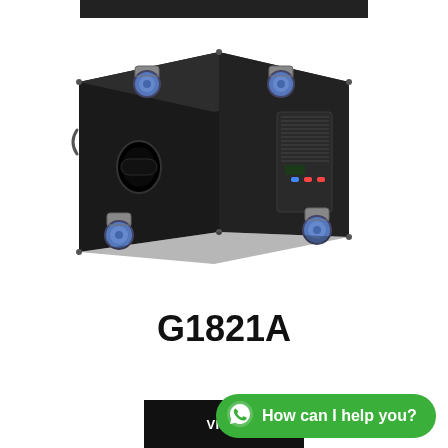[Figure (photo): Black subwoofer speaker cabinet (G1821A) with four blue caster wheels, a side port hole, and amplifier panel with controls on the rear, viewed from a three-quarter angle.]
G1821A
VIEW
How can I help you?